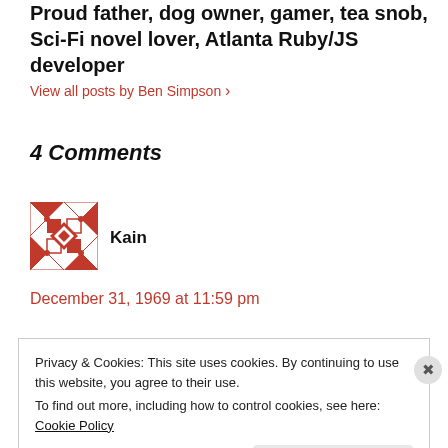Proud father, dog owner, gamer, tea snob, Sci-Fi novel lover, Atlanta Ruby/JS developer
View all posts by Ben Simpson ›
4 Comments
[Figure (illustration): Red and white geometric pattern avatar for user Kain]
Kain
December 31, 1969 at 11:59 pm
Privacy & Cookies: This site uses cookies. By continuing to use this website, you agree to their use. To find out more, including how to control cookies, see here: Cookie Policy
Close and accept